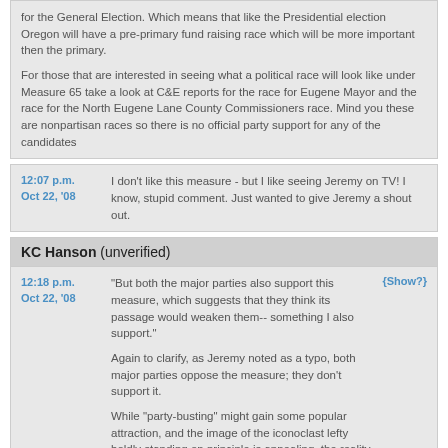for the General Election. Which means that like the Presidential election Oregon will have a pre-primary fund raising race which will be more important then the primary.

For those that are interested in seeing what a political race will look like under Measure 65 take a look at C&E reports for the race for Eugene Mayor and the race for the North Eugene Lane County Commissioners race. Mind you these are nonpartisan races so there is no official party support for any of the candidates
12:07 p.m. Oct 22, '08 — I don't like this measure - but I like seeing Jeremy on TV! I know, stupid comment. Just wanted to give Jeremy a shout out.
KC Hanson (unverified)
12:18 p.m. Oct 22, '08 — "But both the major parties also support this measure, which suggests that they think its passage would weaken them-- something I also support."

Again to clarify, as Jeremy noted as a typo, both major parties oppose the measure; they don't support it.

While "party-busting" might gain some popular attraction, and the image of the iconoclast lefty boldly standing on principle is appealing, the reality is that this measure hurts minor parties AND hurts progressives within the Democratic Party.

I chose to be a Dem not to be a "system player," but because I believe its necessary for progressives to be active within the structure of the Democratic Party, as well as outside of it.

The original working title for this measure was the "open" primary, but in essence it closes primaries. More voters may able to participate, but they will have a lesser voice...